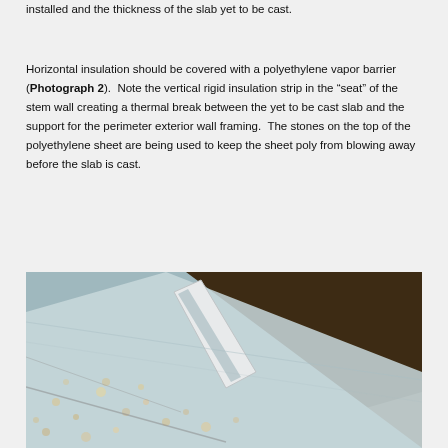installed and the thickness of the slab yet to be cast.
Horizontal insulation should be covered with a polyethylene vapor barrier (Photograph 2). Note the vertical rigid insulation strip in the “seat” of the stem wall creating a thermal break between the yet to be cast slab and the support for the perimeter exterior wall framing. The stones on the top of the polyethylene sheet are being used to keep the sheet poly from blowing away before the slab is cast.
[Figure (photo): Photograph showing a construction site with a polyethylene vapor barrier sheet covering horizontal insulation. Small stones are placed on the sheet to hold it down. A white concrete stem wall with a vertical rigid insulation strip in the seat is visible, separating the interior from dark soil on the exterior.]